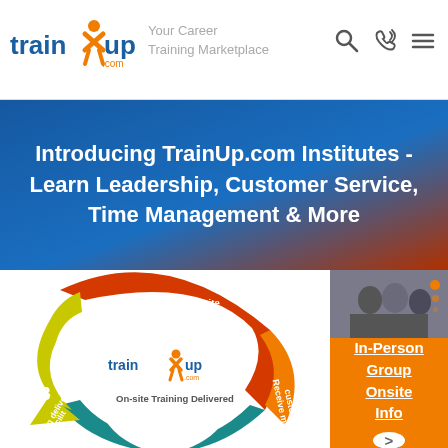[Figure (logo): TrainUp.com logo with orange figure and blue text]
Your Career
Training Marketplace
Introducing TrainUp.com Institutes - Learn Leadership, Customer Service, Time Management & More
[Figure (infographic): Circular arrow infographic showing 3 steps: 1 Submit an on-site training request (red/orange), 2 Receive multiple bids (teal), 3 Training delivered at your facility (yellow-green), with TrainUp.com On-site Training Delivered logo in center]
In-Person Group Onsite Info